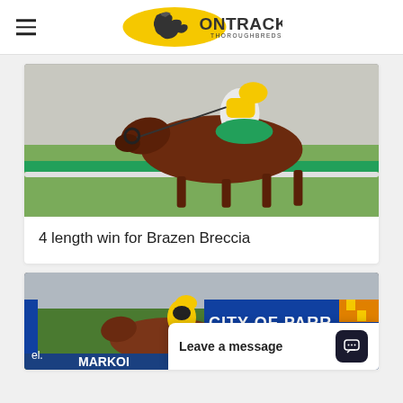OnTrack Thoroughbreds
[Figure (photo): A thoroughbred racehorse with jockey wearing yellow and white silks and green saddle cloth, racing past green rails at a horse racing track.]
4 length win for Brazen Breccia
[Figure (photo): A thoroughbred racehorse with jockey wearing yellow silks racing at a track, with a blue sign reading 'CITY OF PARR...' visible in the background. A chat popup overlay reads 'Leave a message'.]